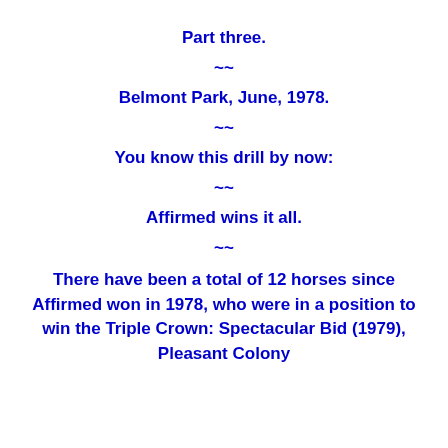Part three.
~~
Belmont Park, June, 1978.
~~
You know this drill by now:
~~
Affirmed wins it all.
~~
There have been a total of 12 horses since Affirmed won in 1978, who were in a position to win the Triple Crown: Spectacular Bid (1979), Pleasant Colony